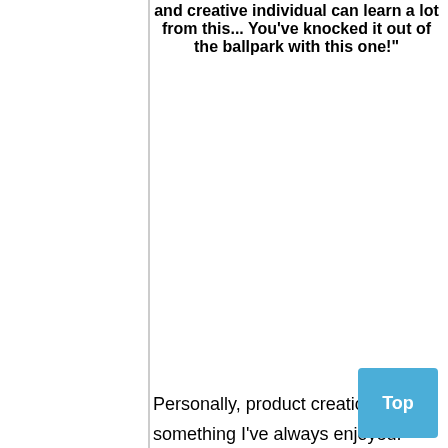and creative individual can learn a lot from this... You've knocked it out of the ballpark with this one!"
Personally, product creation is something I've always enjoyed. Still, it can be hard at times to come up with ideas for new products that are unique, or have a unique twist to them. Even an experienced and creative individual can learn a lot from this video series. I know I did. I especially appreciated the lessons on product pricing, how to get testimonials, and creating multimedia